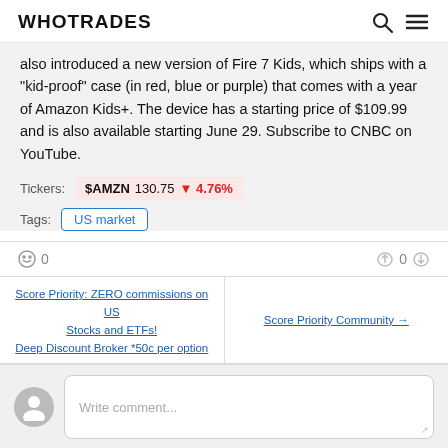WHOTRADES
also introduced a new version of Fire 7 Kids, which ships with a "kid-proof" case (in red, blue or purple) that comes with a year of Amazon Kids+. The device has a starting price of $109.99 and is also available starting June 29. Subscribe to CNBC on YouTube.
Tickers: $AMZN 130.75 ▼4.76%
Tags: US market
0  0
Score Priority: ZERO commissions on US Stocks and ETFs!
Deep Discount Broker *50c per option
Score Priority Community →
Write comment...